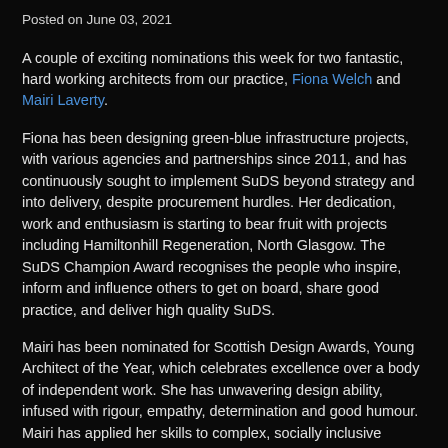Posted on June 03, 2021
A couple of exciting nominations this week for two fantastic, hard working architects from our practice, Fiona Welch and Mairi Laverty.
Fiona has been designing green-blue infrastructure projects, with various agencies and partnerships since 2011, and has continuously sought to implement SuDS beyond strategy and into delivery, despite procurement hurdles. Her dedication, work and enthusiasm is starting to bear fruit with projects including Hamiltonhill Regeneration, North Glasgow. The SuDS Champion Award recognises the people who inspire, inform and influence others to get on board, share good practice, and deliver high quality SuDS.
Mairi has been nominated for Scottish Design Awards, Young Architect of the Year, which celebrates excellence over a body of independent work. She has unwavering design ability, infused with rigour, empathy, determination and good humour. Mairi has applied her skills to complex, socially inclusive buildings and places across Scotland, including the Larish Centre, Tayport, the Water Row...